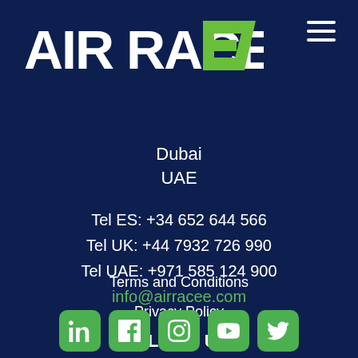[Figure (logo): Air Race E logo — white text 'AIR RACE' with a green stylized letter E on dark navy background]
Dubai
UAE
Tel ES: +34 652 644 566
Tel UK: +44 7932 726 990
Tel UAE: +971 585 124 900
info@airracee.com
Terms and Conditions
Privacy Policy
FOLLOW US!
[Figure (illustration): Row of five green rounded-square social media icon buttons: LinkedIn, Facebook, Instagram, YouTube, Twitter]